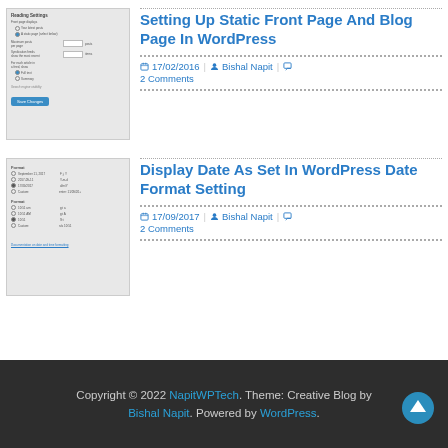[Figure (screenshot): Screenshot of WordPress Reading Settings admin panel showing front page and blog page configuration options]
Setting Up Static Front Page And Blog Page In WordPress
17/02/2016  Bishal Napit  2 Comments
[Figure (screenshot): Screenshot of WordPress Date Format settings page showing date format options including September 11 2017, custom format fields]
Display Date As Set In WordPress Date Format Setting
17/09/2017  Bishal Napit  2 Comments
Copyright © 2022 NapitWPTech. Theme: Creative Blog by Bishal Napit. Powered by WordPress.